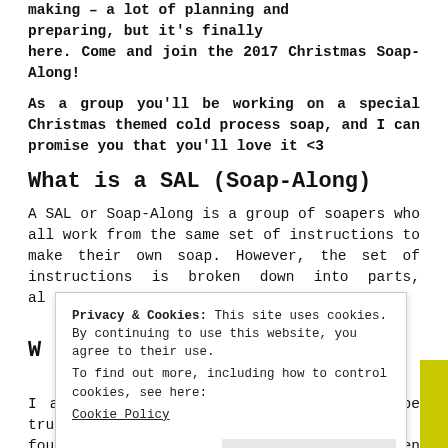making – a lot of planning and preparing, but it's finally here. Come and join the 2017 Christmas Soap-Along!
As a group you'll be working on a special Christmas themed cold process soap, and I can promise you that you'll love it <3
What is a SAL (Soap-Along)
A SAL or Soap-Along is a group of soapers who all work from the same set of instructions to make their own soap. However, the set of instructions is broken down into parts, al... e, an... nd ho...
W
I am also an avid knitter, although to be truthful, since I've founded IN MY SOAP POT, my knitting has taken a bit of a
Privacy & Cookies: This site uses cookies. By continuing to use this website, you agree to their use.
To find out more, including how to control cookies, see here: Cookie Policy